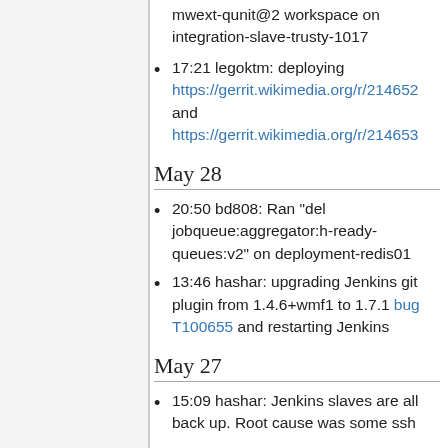mwext-qunit@2 workspace on integration-slave-trusty-1017
17:21 legoktm: deploying https://gerrit.wikimedia.org/r/214652 and https://gerrit.wikimedia.org/r/214653
May 28
20:50 bd808: Ran "del jobqueue:aggregator:h-ready-queues:v2" on deployment-redis01
13:46 hashar: upgrading Jenkins git plugin from 1.4.6+wmf1 to 1.7.1 bug T100655 and restarting Jenkins
May 27
15:09 hashar: Jenkins slaves are all back up. Root cause was some ssh